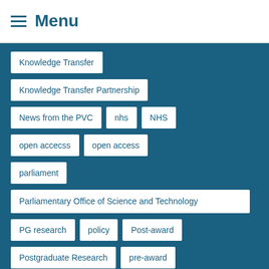Menu
Knowledge Transfer
Knowledge Transfer Partnership
News from the PVC
nhs
NHS
open accecss
open access
parliament
Parliamentary Office of Science and Technology
PG research
policy
Post-award
Postgraduate Research
pre-award